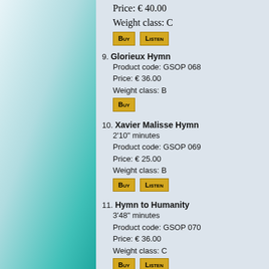Price: € 40.00
Weight class: C
[BUY] [LISTEN]
9. Glorieux Hymn
Product code: GSOP 068
Price: € 36.00
Weight class: B
[BUY]
10. Xavier Malisse Hymn
2'10" minutes
Product code: GSOP 069
Price: € 25.00
Weight class: B
[BUY] [LISTEN]
11. Hymn to Humanity
3'48" minutes
Product code: GSOP 070
Price: € 36.00
Weight class: C
[BUY] [LISTEN]
12. The Legend of Bruce Lee (complete)
Product code: GSOP 071
Price: € 50.00
Weight class: C